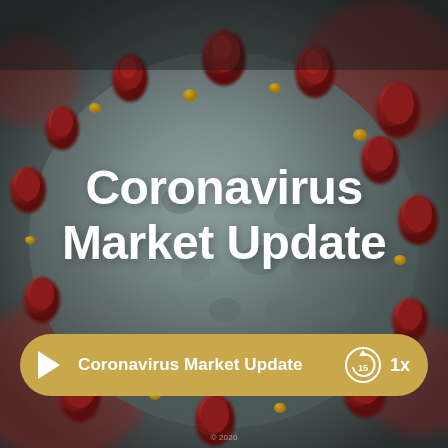[Figure (photo): Close-up microscope image of a coronavirus particle — a grey spherical cell covered with dark red/crimson spike proteins and smaller orange/gold nodules, on a blurred background]
Coronavirus Market Update
Coronavirus Market Update  ▶  15  1x